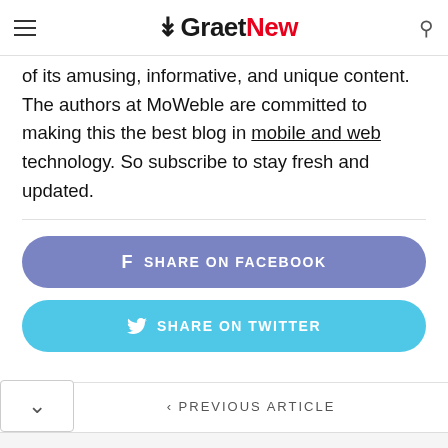GraetNew
of its amusing, informative, and unique content. The authors at MoWeble are committed to making this the best blog in mobile and web technology. So subscribe to stay fresh and updated.
SHARE ON FACEBOOK
SHARE ON TWITTER
‹ PREVIOUS ARTICLE
Integrated Circuits Supplier
Check Part Availability & Inventory from Kynix Kynix
Get Quote